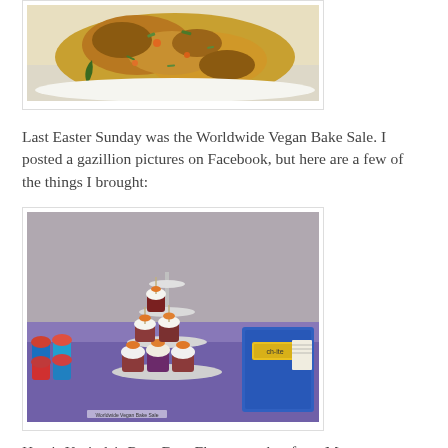[Figure (photo): Close-up photo of a cooked vegetable fritter or patty on a white plate, showing golden-brown crust with green herbs and orange carrots visible]
Last Easter Sunday was the Worldwide Vegan Bake Sale. I posted a gazillion pictures on Facebook, but here are a few of the things I brought:
[Figure (photo): Photo of a table display at a vegan bake sale showing a tiered stand of cupcakes with white frosting and orange fruit toppings, colorful cupcakes in blue and red liners on the left, and other baked goods in the background on a purple tablecloth]
Here's Kerinda's Root Beer Float cupcakes from M...